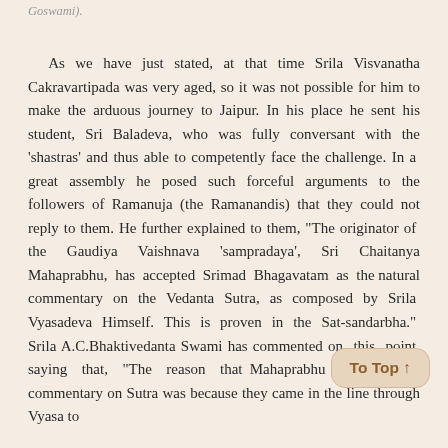Goswami).
As we have just stated, at that time Srila Visvanatha Cakravartipada was very aged, so it was not possible for him to make the arduous journey to Jaipur. In his place he sent his student, Sri Baladeva, who was fully conversant with the 'shastras' and thus able to competently face the challenge. In a great assembly he posed such forceful arguments to the followers of Ramanuja (the Ramanandis) that they could not reply to them. He further explained to them, "The originator of the Gaudiya Vaishnava 'sampradaya', Sri Chaitanya Mahaprabhu, has accepted Srimad Bhagavatam as the natural commentary on the Vedanta Sutra, as composed by Srila Vyasadeva Himself. This is proven in the Sat-sandarbha." Srila A.C.Bhaktivedanta Swami has commented on this point saying that, "The reason that Mahaprabhu didn't make a commentary on Sutra was because they came in the line through Vyasa to